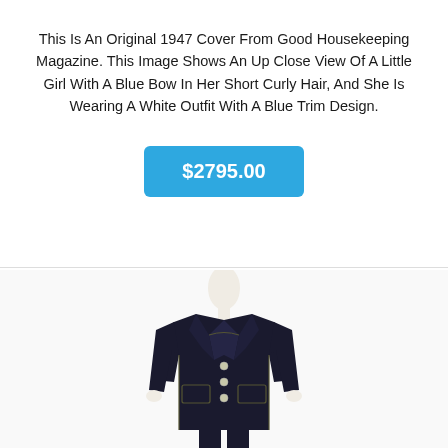This Is An Original 1947 Cover From Good Housekeeping Magazine. This Image Shows An Up Close View Of A Little Girl With A Blue Bow In Her Short Curly Hair, And She Is Wearing A White Outfit With A Blue Trim Design.
$2795.00
[Figure (photo): A mannequin wearing a dark navy/black blazer jacket with contrast stitching trim on pockets and lapels, with silver buttons, displayed on a white mannequin form.]